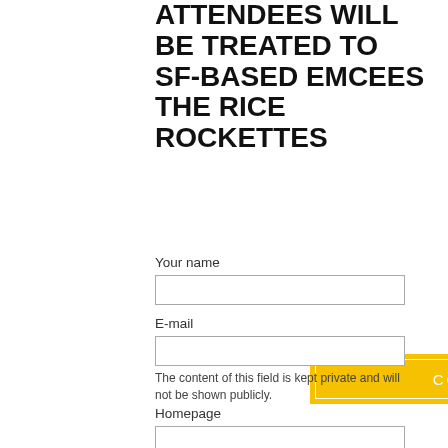ATTENDEES WILL BE TREATED TO SF-BASED EMCEES THE RICE ROCKETTES
COMMENTS
Your name
E-mail
The content of this field is kept private and will not be shown publicly.
Homepage